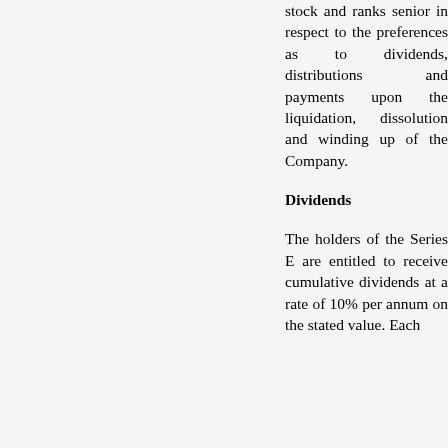common stock and ranks senior in respect to the preferences as to dividends, distributions and payments upon the liquidation, dissolution and winding up of the Company.
Dividends
The holders of the Series E are entitled to receive cumulative dividends at a rate of 10% per annum on the stated value. Each